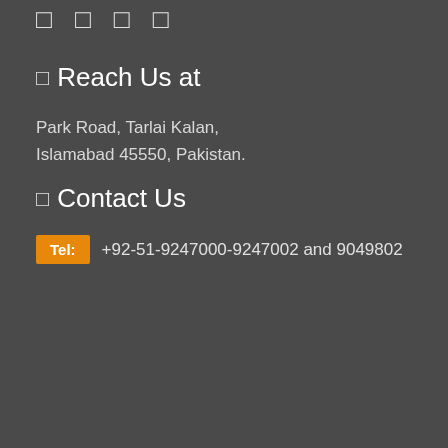[Figure (other): Three small square icon placeholders at the top]
□ Reach Us at
Park Road, Tarlai Kalan,
Islamabad 45550, Pakistan.
□ Contact Us
Tel: +92-51-9247000-9247002 and 9049802